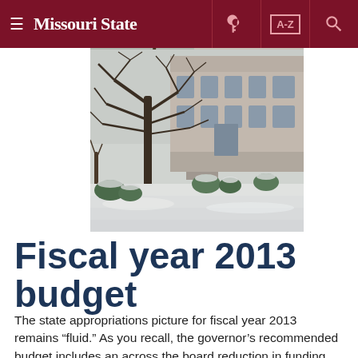Missouri State
[Figure (photo): Winter campus scene showing a large bare tree in the foreground, snow-covered ground, and a historic stone building in the background]
Fiscal year 2013 budget
The state appropriations picture for fiscal year 2013 remains “fluid.” As you recall, the governor’s recommended budget includes an across the board reduction in funding for all institutions of higher